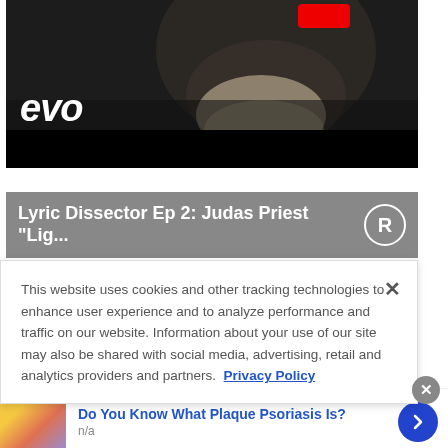[Figure (screenshot): Video thumbnail showing a bearded man in dark clothing with 'evo' watermark and a red play button, with black bar at bottom]
[Figure (screenshot): Second video thumbnail with gray background showing title 'Lyric Dissector Ep 2: Judas Priest "Lig...' with R badge]
This website uses cookies and other tracking technologies to enhance user experience and to analyze performance and traffic on our website. Information about your use of our site may also be shared with social media, advertising, retail and analytics providers and partners. Privacy Policy
Do You Know What Plaque Psoriasis Is?
n/a